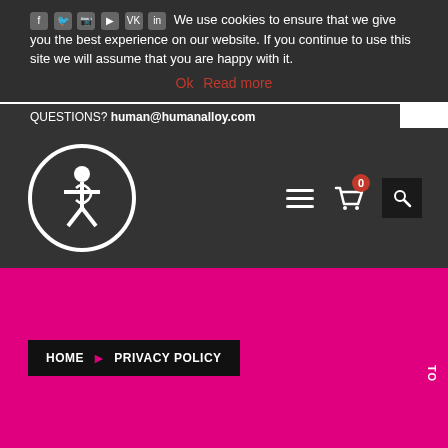We use cookies to ensure that we give you the best experience on our website. If you continue to use this site we will assume that you are happy with it.
QUESTIONS? human@humanalloy.com
[Figure (logo): Human Alloy logo: white circle with stylized human figure inside, on dark grey background]
Ok   Read more
HOME ▶ PRIVACY POLICY
Privacy Policy